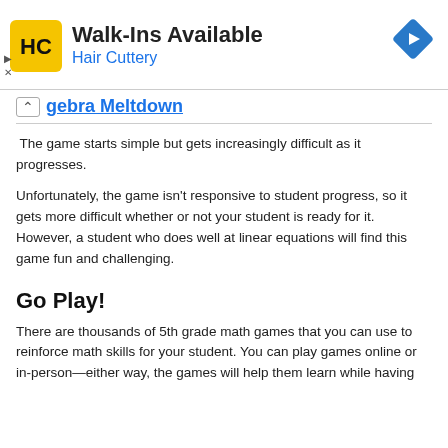[Figure (other): Hair Cuttery advertisement banner with logo, 'Walk-Ins Available' heading, 'Hair Cuttery' subheading in blue, and a blue diamond navigation icon on the right.]
gebra Meltdown
The game starts simple but gets increasingly difficult as it progresses.
Unfortunately, the game isn't responsive to student progress, so it gets more difficult whether or not your student is ready for it. However, a student who does well at linear equations will find this game fun and challenging.
Go Play!
There are thousands of 5th grade math games that you can use to reinforce math skills for your student. You can play games online or in-person—either way, the games will help them learn while having